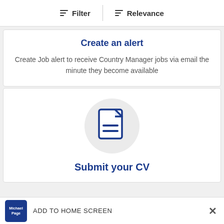Filter  |  Relevance
Create an alert
Create Job alert to receive Country Manager jobs via email the minute they become available
[Figure (illustration): Document/CV icon inside a grey circle, with blue document icon showing lines representing text]
Submit your CV
ADD TO HOME SCREEN